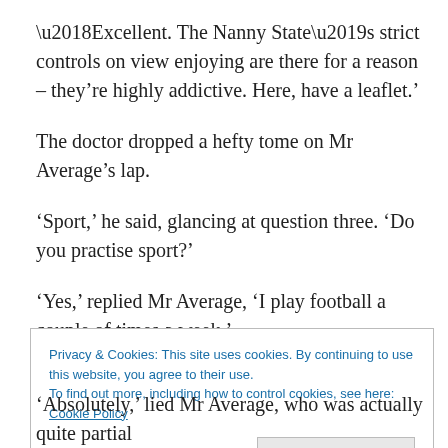‘Excellent. The Nanny State’s strict controls on view enjoying are there for a reason – they’re highly addictive. Here, have a leaflet.’
The doctor dropped a hefty tome on Mr Average’s lap.
‘Sport,’ he said, glancing at question three. ‘Do you practise sport?’
‘Yes,’ replied Mr Average, ‘I play football a couple of times a week.’
Privacy & Cookies: This site uses cookies. By continuing to use this website, you agree to their use.
To find out more, including how to control cookies, see here: Cookie Policy
‘Absolutely,’ lied Mr Average, who was actually quite partial